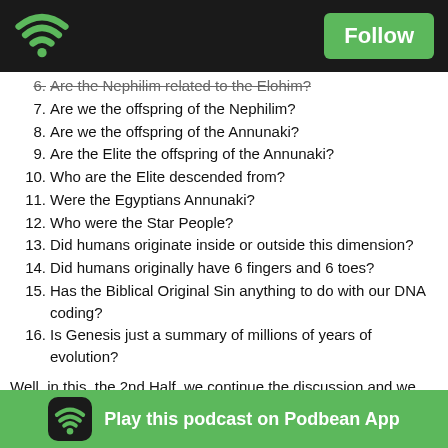Follow
6. Are the Nephilim related to the Elohim?
7. Are we the offspring of the Nephilim?
8. Are we the offspring of the Annunaki?
9. Are the Elite the offspring of the Annunaki?
10. Who are the Elite descended from?
11. Were the Egyptians Annunaki?
12. Who were the Star People?
13. Did humans originate inside or outside this dimension?
14. Did humans originally have 6 fingers and 6 toes?
15. Has the Biblical Original Sin anything to do with our DNA coding?
16. Is Genesis just a summary of millions of years of evolution?
Well, in this, the 2nd Half, we continue the discussion and we ask the following questions:
1. Is it possible to find an accurate genealogy of the human race?
2. Was there always conflict in the DNA of humans?
3. Has there ever been a peaceful, loving human on Earth?
4. Is it possible for humans to become more angelic...
5. Was Hitler trying to return the race to the original human or...